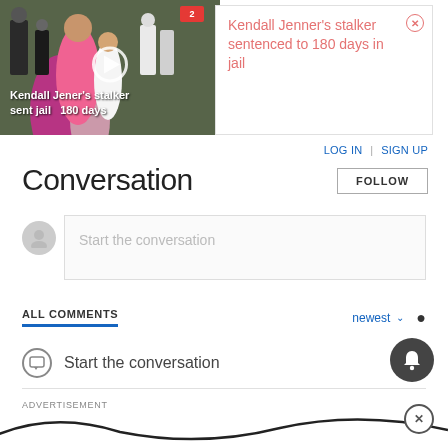[Figure (screenshot): Video thumbnail showing a woman in pink dress at an outdoor event with text overlay 'Kendall Jenner's stalker sent jail 180 days' and a play button]
Kendall Jenner's stalker sentenced to 180 days in jail
LOG IN | SIGN UP
Conversation
FOLLOW
Start the conversation
ALL COMMENTS
newest
Start the conversation
ADVERTISEMENT